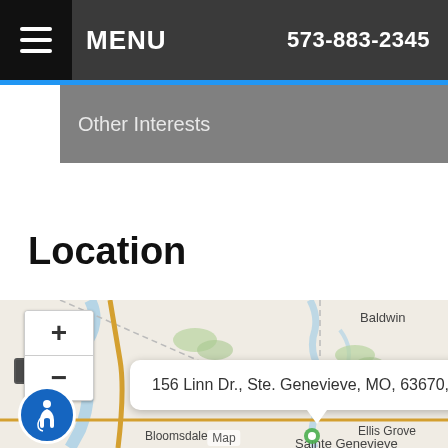MENU   573-883-2345
Other Interests
Location
[Figure (map): Street/road map showing the area around Sainte Genevieve, MO. Visible place names: Baldwin, Evansville, Prairie du Rocher, Bloomsdale, Ellis Grove, Sainte Genevieve. Zoom in (+) and out (-) controls on the left. A popup shows the address: 156 Linn Dr., Ste. Genevieve, MO, 63670, US. An accessibility icon appears in the lower left corner.]
156 Linn Dr., Ste. Genevieve, MO, 63670, US
Map